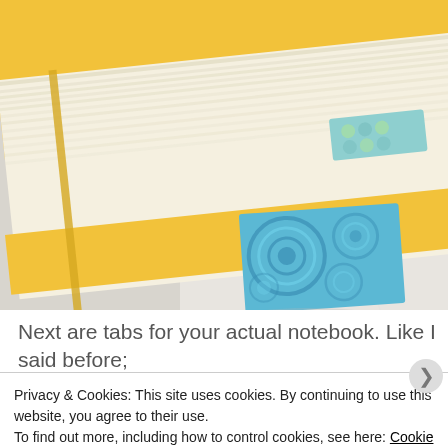[Figure (photo): Close-up photo of a yellow notebook with colorful washi tape tabs sticking out from the pages, resting on a white marble surface.]
Next are tabs for your actual notebook. Like I said before; these are all super easy! Just cut a piece of washi tape...
Privacy & Cookies: This site uses cookies. By continuing to use this website, you agree to their use.
To find out more, including how to control cookies, see here: Cookie Policy
Close and accept